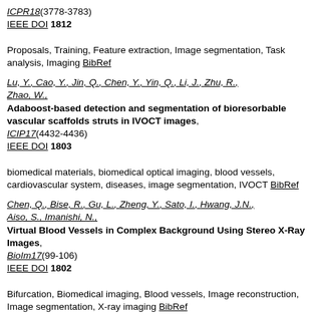ICPR18(3778-3783) IEEE DOI 1812 Proposals, Training, Feature extraction, Image segmentation, Task analysis, Imaging BibRef
Lu, Y., Cao, Y., Jin, Q., Chen, Y., Yin, Q., Li, J., Zhu, R., Zhao, W., Adaboost-based detection and segmentation of bioresorbable vascular scaffolds struts in IVOCT images, ICIP17(4432-4436) IEEE DOI 1803 biomedical materials, biomedical optical imaging, blood vessels, cardiovascular system, diseases, image segmentation, IVOCT BibRef
Chen, Q., Bise, R., Gu, L., Zheng, Y., Sato, I., Hwang, J.N., Aiso, S., Imanishi, N., Virtual Blood Vessels in Complex Background Using Stereo X-Ray Images, BioIm17(99-106) IEEE DOI 1802 Bifurcation, Biomedical imaging, Blood vessels, Image reconstruction, Image segmentation, X-ray imaging BibRef
Zhao, Z.Y.[Zhi-Yuan], Cao, Q.[Chen-Ha], Mi, J., T...